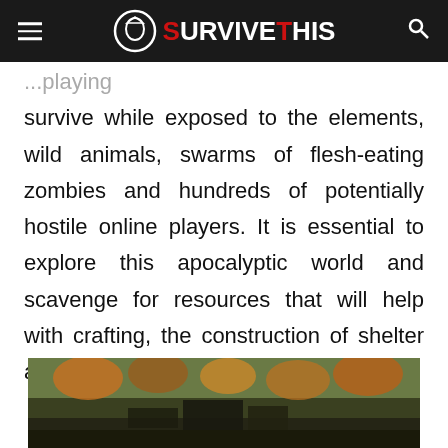SURVIVE THIS
survive while exposed to the elements, wild animals, swarms of flesh-eating zombies and hundreds of potentially hostile online players. It is essential to explore this apocalyptic world and scavenge for resources that will help with crafting, the construction of shelter and ultimately, the extension of survival.
[Figure (screenshot): Screenshot from a game showing an outdoor scene with autumn trees and dark structures/buildings, appears to be a survival game environment.]